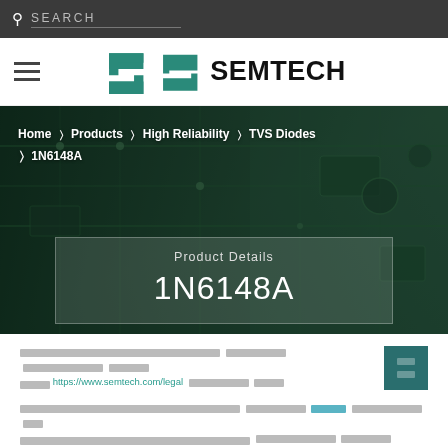SEARCH
[Figure (logo): Semtech logo with teal S icon and SEMTECH wordmark]
[Figure (photo): Hero background image of green circuit board with product details overlay showing breadcrumb navigation: Home > Products > High Reliability > TVS Diodes > 1N6148A, and product name 1N6148A]
[redacted text] https://www.semtech.com/legal [redacted text]
[redacted paragraph text]